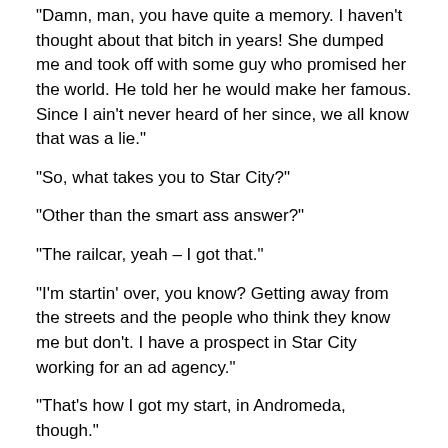“Damn, man, you have quite a memory. I haven’t thought about that bitch in years! She dumped me and took off with some guy who promised her the world. He told her he would make her famous. Since I ain’t never heard of her since, we all know that was a lie.”
“So, what takes you to Star City?”
“Other than the smart ass answer?”
“The railcar, yeah – I got that.”
“I’m startin’ over, you know? Getting away from the streets and the people who think they know me but don’t. I have a prospect in Star City working for an ad agency.”
“That’s how I got my start, in Andromeda, though.”
“No kidding. Well, maybe this is the time of the Pick.”